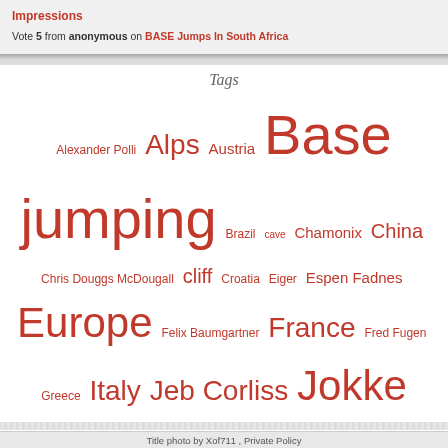Impressions
Vote 5 from anonymous on BASE Jumps In South Africa
Tags
Alexander Polli Alps Austria Base jumping Brazil cave Chamonix China Chris Douggs McDougall cliff Croatia Eiger Espen Fadnes Europe Felix Baumgartner France Fred Fugen Greece Italy Jeb Corliss Jokke Sommer JP Teffaud Jungfrau Kuala Lumpur Lauterbrunnen Ludovic Woerth Malaysia Marshall Miller Matt Gerdes Monte Brento Norway Outdoor Games Phoenix-Fly Poland Red Bull Russia Soul Flyers Spain Switzerland Turkey USA Valery Rozov Vince Reffet Vladimir Spigler wingsuits
Title photo by Xof711 , Private Policy